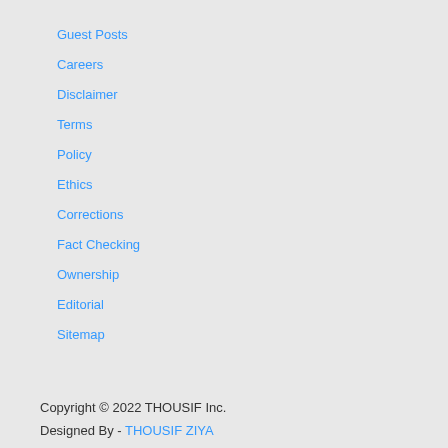Guest Posts
Careers
Disclaimer
Terms
Policy
Ethics
Corrections
Fact Checking
Ownership
Editorial
Sitemap
Copyright © 2022 THOUSIF Inc.
Designed By - THOUSIF ZIYA